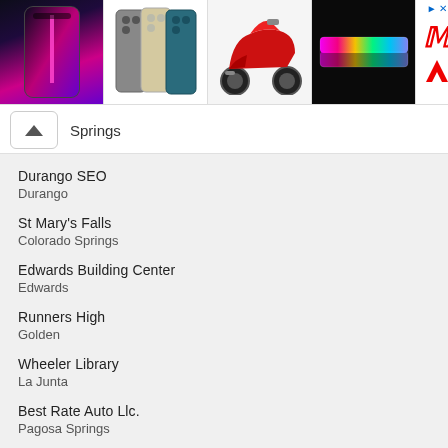[Figure (photo): Advertisement banner with product images: dark iPhone 13 Pro, multi-color iPhone 12 Pro set, red scooter, LED light strip, and a red M logo]
Durango SEO
Durango
St Mary's Falls
Colorado Springs
Edwards Building Center
Edwards
Runners High
Golden
Wheeler Library
La Junta
Best Rate Auto Llc.
Pagosa Springs